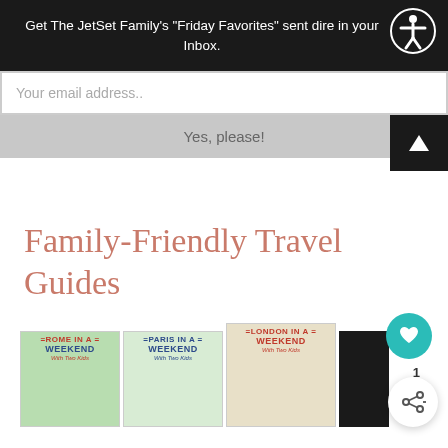Get The JetSet Family's "Friday Favorites" sent directly in your Inbox.
Your email address..
Yes, please!
Family-Friendly Travel Guides
[Figure (illustration): Book covers for Rome in a Weekend With Two Kids, Paris in a Weekend With Two Kids, and London in a Weekend With Two Kids displayed side by side]